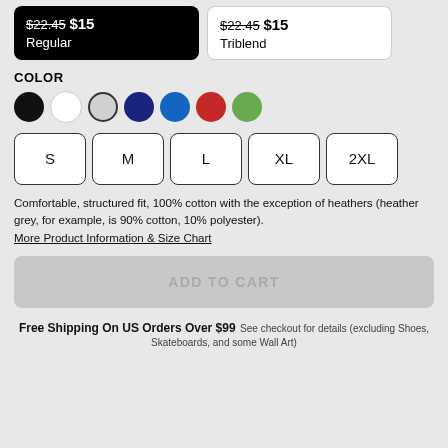$22.45 $15 Regular
$22.45 $15 Triblend
COLOR
[Figure (other): Color swatches: black, white, heather grey (outlined), navy, blue, red, green]
[Figure (other): Size selector buttons: S, M, L, XL, 2XL]
Comfortable, structured fit, 100% cotton with the exception of heathers (heather grey, for example, is 90% cotton, 10% polyester).
More Product Information & Size Chart
ADD TO CART
Free Shipping On US Orders Over $99 See checkout for details (excluding Shoes, Skateboards, and some Wall Art)